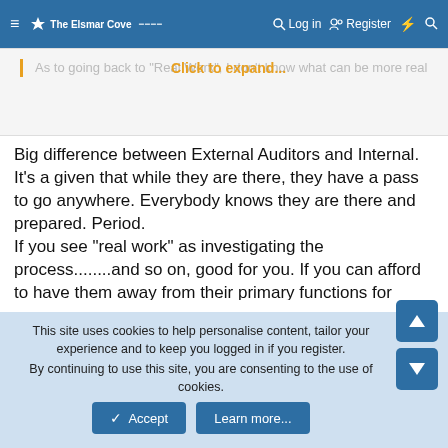≡  The Elsmar Cove  [logo]  Log in  Register  ⚡  🔍
As to going back to "Real Work", I don't know what can be more real  Click to expand...
Big difference between External Auditors and Internal. It's a given that while they are there, they have a pass to go anywhere. Everybody knows they are there and prepared. Period.
If you see "real work" as investigating the process........and so on, good for you. If you can afford to have them away from their primary functions for extended periods of time, meandering into various departments as they see fit, you are the exception.
(IMHO) The results of the External audit you have presented indicates, at least to me, the company is on pretty solid ground as it is.
Finally, investigating the process to see it continues to work for
This site uses cookies to help personalise content, tailor your experience and to keep you logged in if you register.
By continuing to use this site, you are consenting to the use of cookies.
Accept   Learn more...